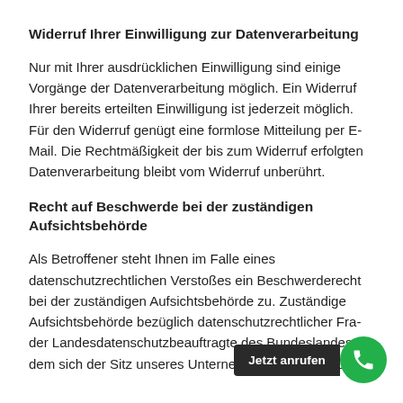Widerruf Ihrer Einwilligung zur Datenverarbeitung
Nur mit Ihrer ausdrücklichen Einwilligung sind einige Vorgänge der Datenverarbeitung möglich. Ein Widerruf Ihrer bereits erteilten Einwilligung ist jederzeit möglich. Für den Widerruf genügt eine formlose Mitteilung per E-Mail. Die Rechtmäßigkeit der bis zum Widerruf erfolgten Datenverarbeitung bleibt vom Widerruf unberührt.
Recht auf Beschwerde bei der zuständigen Aufsichtsbehörde
Als Betroffener steht Ihnen im Falle eines datenschutzrechtlichen Verstoßes ein Beschwerderecht bei der zuständigen Aufsichtsbehörde zu. Zuständige Aufsichtsbehörde bezüglich datenschutzrechtlicher Fra... der Landesdatenschutzbeauftragte des Bundeslandes, dem sich der Sitz unseres Unternehmens befindet. Der